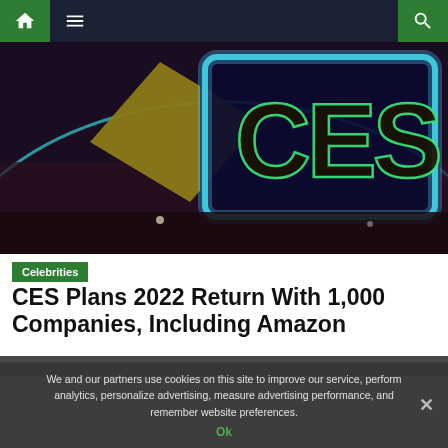Navigation bar with home, menu, and search icons
[Figure (photo): CES logo signage — illuminated CES letters in blue-green neon on a dark background with curved architectural elements]
Celebrities
CES Plans 2022 Return With 1,000 Companies, Including Amazon
[Figure (photo): Partial second image strip below the title]
We and our partners use cookies on this site to improve our service, perform analytics, personalize advertising, measure advertising performance, and remember website preferences.
Ok